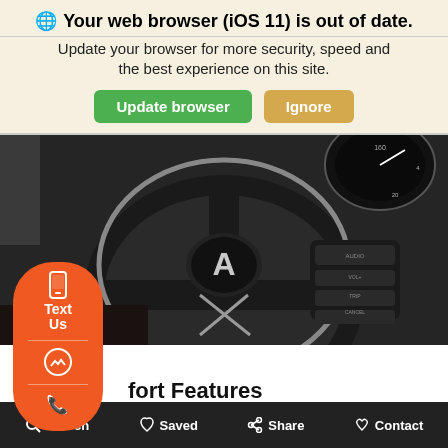Your web browser (iOS 11) is out of date.
Update your browser for more security, speed and the best experience on this site.
[Figure (screenshot): Car interior close-up of Acura steering wheel with controls, dashboard gauges in background]
[Figure (infographic): Orange floating sidebar with phone icon and Text Us label, messenger icon, phone call icon]
fort Features
s no doubt that every 2017 Acura MDX Sport Hybrid offers comfort to driver and passengers alike for long drives, making being
Search   Saved   Share   Contact